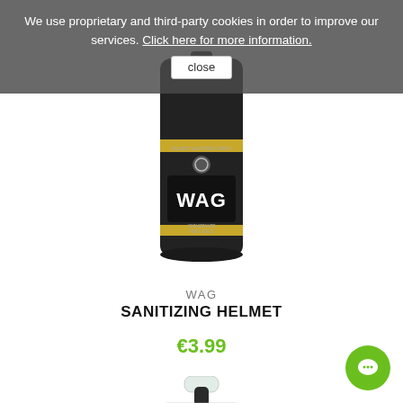We use proprietary and third-party cookies in order to improve our services. Click here for more information. close
[Figure (photo): WAG Sanitizing Helmet spray can — dark/black can with yellow stripe and WAG bicycle components logo]
WAG
SANITIZING HELMET
€3.99
[Figure (photo): Igienizzante Scarpe shoe sanitizer spray can — transparent top, dark body with Italian flag and green IGIENIZZANTE SCARPE label]